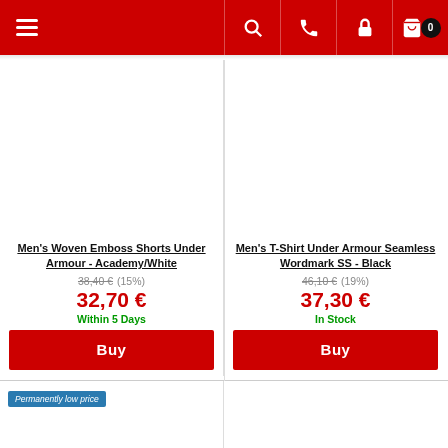[Figure (screenshot): Red navigation bar with hamburger menu on left and icons (search, phone, lock, cart with badge 0) on right]
[Figure (photo): Product image area for Men's Woven Emboss Shorts Under Armour - Academy/White (blank white)]
Men's Woven Emboss Shorts Under Armour - Academy/White
38,40 € (15%) 32,70 € Within 5 Days
Buy
[Figure (photo): Product image area for Men's T-Shirt Under Armour Seamless Wordmark SS - Black (blank white)]
Men's T-Shirt Under Armour Seamless Wordmark SS - Black
46,10 € (19%) 37,30 € In Stock
Buy
Permanently low price